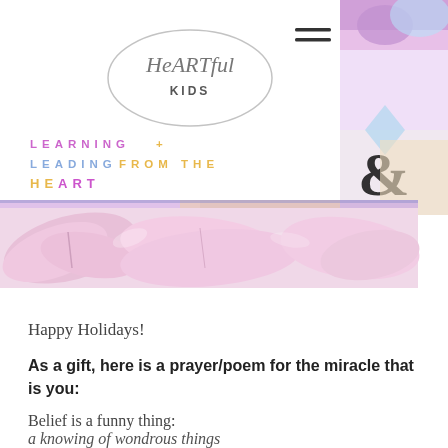[Figure (screenshot): Website header screenshot showing HeARTful Kids logo, hamburger menu icon, colorful art panel on right, tagline 'LEARNING + LEADING FROM THE HEART' in multicolor letters, and a banner photo of pink flower petals/ballet shoes.]
Happy Holidays!
As a gift, here is a prayer/poem for the miracle that is you:
Belief is a funny thing:
a knowing of wondrous things